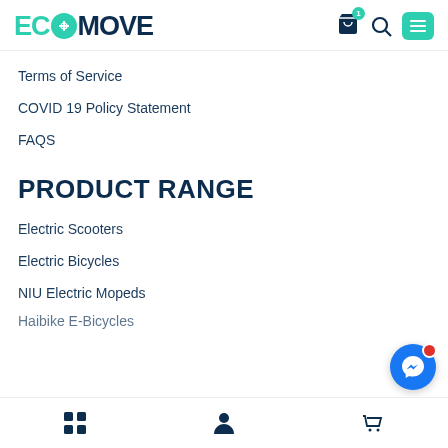ECOMOVE
Terms of Service
COVID 19 Policy Statement
FAQS
PRODUCT RANGE
Electric Scooters
Electric Bicycles
NIU Electric Mopeds
Haibike E-Bicycles (truncated)